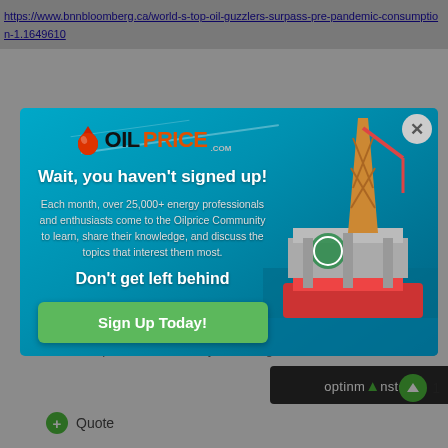https://www.bnnbloomberg.ca/world-s-top-oil-guzzlers-surpass-pre-pandemic-consumption-1.1649610
[Figure (screenshot): OilPrice.com popup modal over a blurred webpage. The popup shows the OilPrice logo, headline 'Wait, you haven't signed up!', body text about 25,000+ energy professionals, 'Don't get left behind' subheading, a green 'Sign Up Today!' button, and an oil rig photo on the right side with ocean background. A close X button is in the top right corner.]
Edited September 9, 2021 by Ecocharger
optinmonster
+ Quote